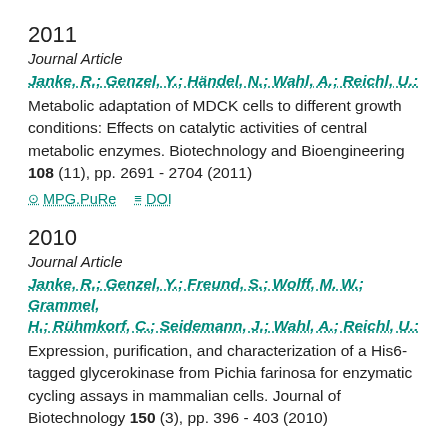2011
Journal Article
Janke, R.; Genzel, Y.; Händel, N.; Wahl, A.; Reichl, U.:
Metabolic adaptation of MDCK cells to different growth conditions: Effects on catalytic activities of central metabolic enzymes. Biotechnology and Bioengineering 108 (11), pp. 2691 - 2704 (2011)
MPG.PuRe   DOI
2010
Journal Article
Janke, R.; Genzel, Y.; Freund, S.; Wolff, M. W.; Grammel, H.; Rühmkorf, C.; Seidemann, J.; Wahl, A.; Reichl, U.:
Expression, purification, and characterization of a His6-tagged glycerokinase from Pichia farinosa for enzymatic cycling assays in mammalian cells. Journal of Biotechnology 150 (3), pp. 396 - 403 (2010)